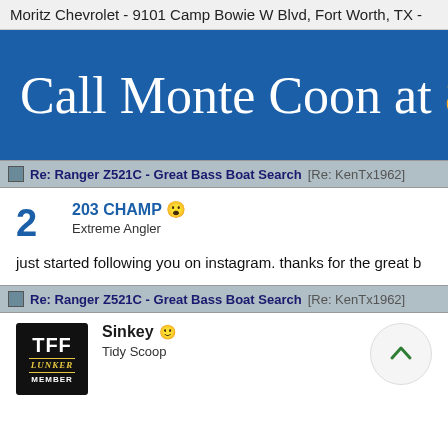Moritz Chevrolet - 9101 Camp Bowie W Blvd, Fort Worth, TX -
[Figure (screenshot): Blue advertisement banner with white serif text 'Call Monte Coon at 8' and orange number '8', partially cut off on right]
Re: Ranger Z521C - Great Bass Boat Search [Re: KenTx1962]
203 CHAMP
Extreme Angler
2
just started following you on instagram. thanks for the great b
Re: Ranger Z521C - Great Bass Boat Search [Re: KenTx1962]
Sinkey
Tidy Scoop